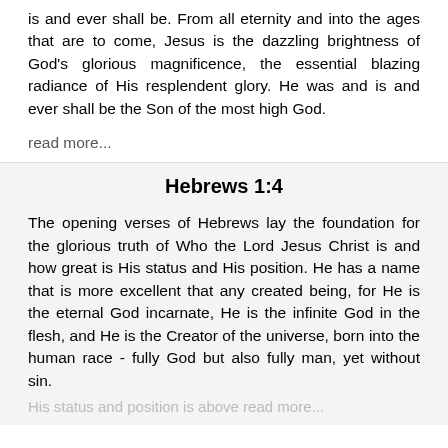is and ever shall be. From all eternity and into the ages that are to come, Jesus is the dazzling brightness of God's glorious magnificence, the essential blazing radiance of His resplendent glory. He was and is and ever shall be the Son of the most high God.
read more...
Hebrews 1:4
The opening verses of Hebrews lay the foundation for the glorious truth of Who the Lord Jesus Christ is and how great is His status and His position. He has a name that is more excellent that any created being, for He is the eternal God incarnate, He is the infinite God in the flesh, and He is the Creator of the universe, born into the human race - fully God but also fully man, yet without sin.
His status and position is above read more...